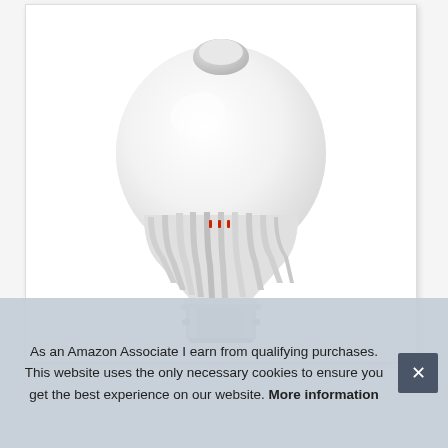[Figure (photo): Product photo of a white LED light bulb with motion sensor on top and metal bayonet base (B22), shown on a white background inside a bordered card.]
As an Amazon Associate I earn from qualifying purchases. This website uses the only necessary cookies to ensure you get the best experience on our website. More information